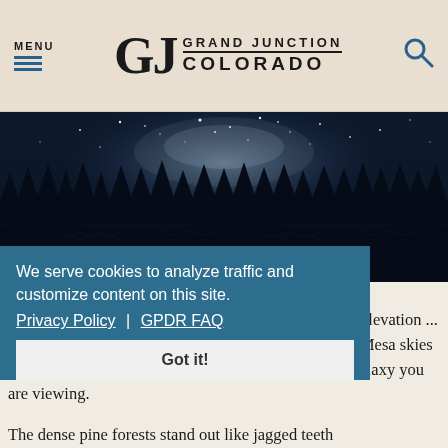MENU | Grand Junction Colorado
[Figure (photo): Night sky with Milky Way over dark silhouette of pine trees reflected in a lake]
Photo by @kylebts
We serve cookies to analyze traffic and customize content on this site. Privacy Policy | GPDR FAQ
Got it!
Only the world's largest ... over 300 lakes reaches an elevation ... towering above the city 6,000 feet below. The Grand Mesa skies are so dark you feel like you are actually within the galaxy you are viewing.
The dense pine forests stand out like jagged teeth